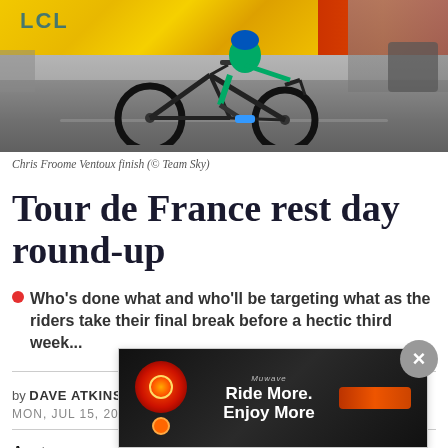[Figure (photo): Cyclist (Chris Froome) at Ventoux finish, riding on road with yellow banners and crowd in background]
Chris Froome Ventoux finish (© Team Sky)
Tour de France rest day round-up
Who's done what and who'll be targeting what as the riders take their final break before a hectic third week...
by DAVE ATKINSON
MON, JUL 15, 2013 15:21  2
Anot
migh
[Figure (screenshot): Advertisement overlay: Muwave 'Ride More. Enjoy More' ad showing red bike light and orange accessory on dark background]